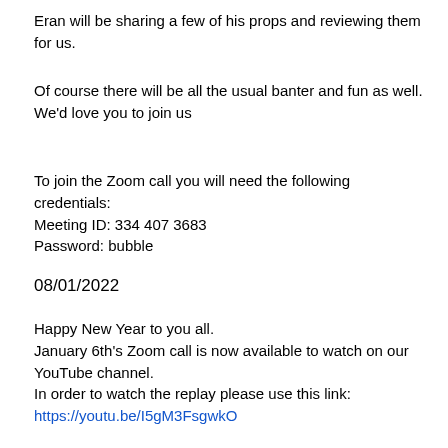Eran will be sharing a few of his props and reviewing them for us.
Of course there will be all the usual banter and fun as well. We'd love you to join us
To join the Zoom call you will need the following credentials:
Meeting ID: 334 407 3683
Password: bubble
08/01/2022
Happy New Year to you all.
January 6th's Zoom call is now available to watch on our YouTube channel.
In order to watch the replay please use this link: https://youtu.be/I5gM3FsgwkO